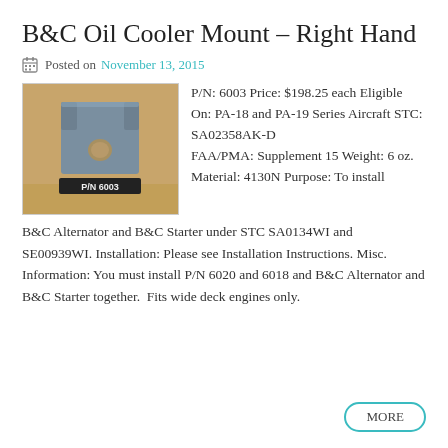B&C Oil Cooler Mount – Right Hand
Posted on November 13, 2015
[Figure (photo): Photo of B&C Oil Cooler Mount bracket, a metal bracket component with label P/N 6003 at the bottom]
P/N: 6003 Price: $198.25 each Eligible On: PA-18 and PA-19 Series Aircraft STC: SA02358AK-D FAA/PMA: Supplement 15 Weight: 6 oz. Material: 4130N Purpose: To install B&C Alternator and B&C Starter under STC SA0134WI and SE00939WI. Installation: Please see Installation Instructions. Misc. Information: You must install P/N 6020 and 6018 and B&C Alternator and B&C Starter together.  Fits wide deck engines only.